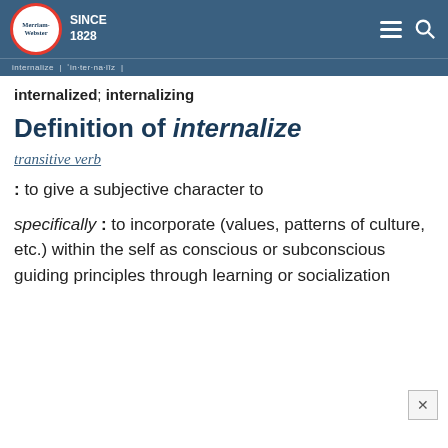Merriam-Webster SINCE 1828
internalized; internalizing
Definition of internalize
transitive verb
: to give a subjective character to
specifically : to incorporate (values, patterns of culture, etc.) within the self as conscious or subconscious guiding principles through learning or socialization